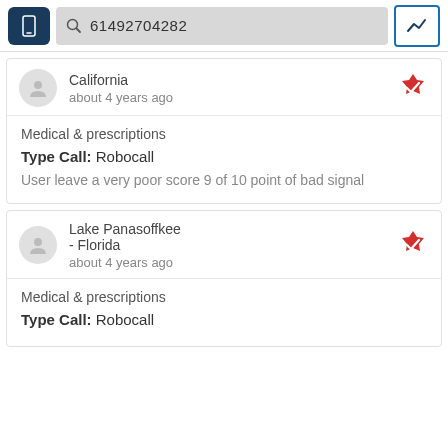61492704282
California
about 4 years ago
Medical & prescriptions
Type Call: Robocall
User leave a very poor score 9 of 10 point of bad signal
Lake Panasoffkee - Florida
about 4 years ago
Medical & prescriptions
Type Call: Robocall